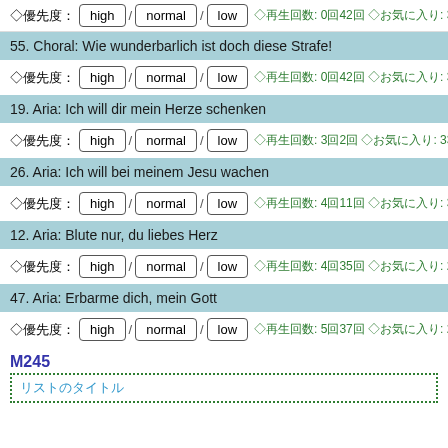◇優先度: high / normal / low ◇再生回数: 0回42回 ◇お気に入り: 317回
55. Choral: Wie wunderbarlich ist doch diese Strafe!
◇優先度: high / normal / low ◇再生回数: 0回42回 ◇お気に入り: 313回
19. Aria: Ich will dir mein Herze schenken
◇優先度: high / normal / low ◇再生回数: 3回2回 ◇お気に入り: 333回
26. Aria: Ich will bei meinem Jesu wachen
◇優先度: high / normal / low ◇再生回数: 4回11回 ◇お気に入り: 329回
12. Aria: Blute nur, du liebes Herz
◇優先度: high / normal / low ◇再生回数: 4回35回 ◇お気に入り: 285回
47. Aria: Erbarme dich, mein Gott
◇優先度: high / normal / low ◇再生回数: 5回37回 ◇お気に入り: 273回
M245
リストのタイトル